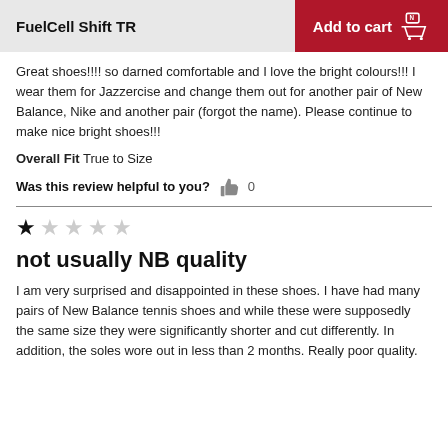FuelCell Shift TR
Great shoes!!!! so darned comfortable and I love the bright colours!!! I wear them for Jazzercise and change them out for another pair of New Balance, Nike and another pair (forgot the name). Please continue to make nice bright shoes!!!
Overall Fit  True to Size
Was this review helpful to you?  0
★ ☆ ☆ ☆ ☆
not usually NB quality
I am very surprised and disappointed in these shoes. I have had many pairs of New Balance tennis shoes and while these were supposedly the same size they were significantly shorter and cut differently. In addition, the soles wore out in less than 2 months. Really poor quality.